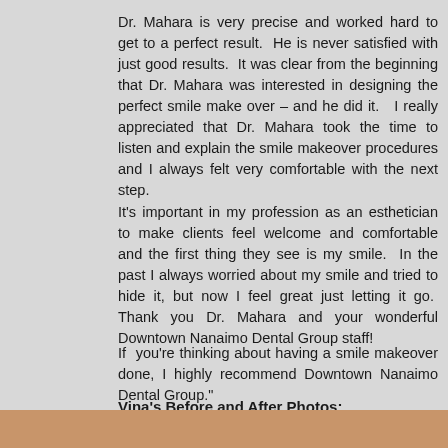Dr. Mahara is very precise and worked hard to get to a perfect result.  He is never satisfied with just good results.  It was clear from the beginning that Dr. Mahara was interested in designing the perfect smile make over – and he did it.   I really appreciated that Dr. Mahara took the time to listen and explain the smile makeover procedures and I always felt very comfortable with the next step.
It's important in my profession as an esthetician to make clients feel welcome and comfortable and the first thing they see is my smile.  In the past I always worried about my smile and tried to hide it, but now I feel great just letting it go.  Thank you Dr. Mahara and your wonderful Downtown Nanaimo Dental Group staff!
If  you're thinking about having a smile makeover done, I highly recommend Downtown Nanaimo Dental Group."
Vina's Before and After Photos:
[Figure (photo): Bottom strip showing the beginning of a before/after dental photo]